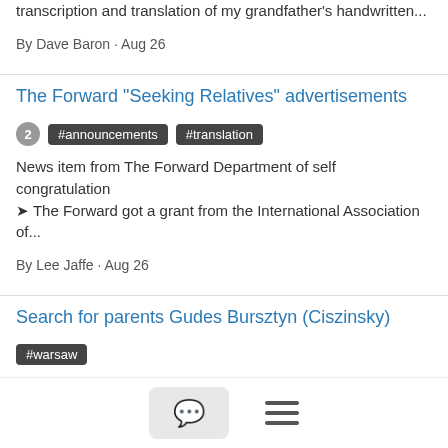transcription and translation of my grandfather's handwritten...
By Dave Baron · Aug 26
The Forward "Seeking Relatives" advertisements
#announcements #translation
News item from The Forward Department of self congratulation
➤ The Forward got a grant from the International Association of...
By Lee Jaffe · Aug 26
Search for parents Gudes Bursztyn (Ciszinsky)
#warsaw
Dear members, I am looking for information about the parents of Gudes Bursztyn, grandmother of my late husband Leo Cukier...
By janeleusink@... · Aug 26
Kunis related rev. list entries to translate-Thanks!
#translation
Please see some excerpts from two Volyn (Polonne) revision lists
Do any of them refer to the surname: Kunis/Koones or similar...
By david.perkins · Aug 26